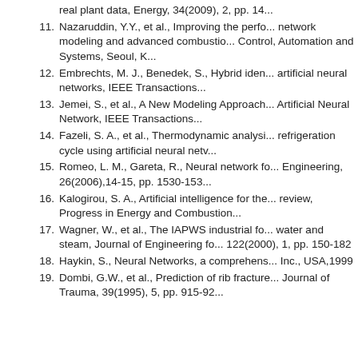real plant data, Energy, 34(2009), 2, pp. 14...
11. Nazaruddin, Y.Y., et al., Improving the perfo... network modeling and advanced combustio... Control, Automation and Systems, Seoul, K...
12. Embrechts, M. J., Benedek, S., Hybrid iden... artificial neural networks, IEEE Transactions...
13. Jemei, S., et al., A New Modeling Approach... Artificial Neural Network, IEEE Transactions...
14. Fazeli, S. A., et al., Thermodynamic analysi... refrigeration cycle using artificial neural netv...
15. Romeo, L. M., Gareta, R., Neural network fo... Engineering, 26(2006),14-15, pp. 1530-153...
16. Kalogirou, S. A., Artificial intelligence for the... review, Progress in Energy and Combustion...
17. Wagner, W., et al., The IAPWS industrial fo... water and steam, Journal of Engineering fo... 122(2000), 1, pp. 150-182
18. Haykin, S., Neural Networks, a comprehens... Inc., USA,1999
19. Dombi, G.W., et al., Prediction of rib fracture... Journal of Trauma, 39(1995), 5, pp. 915-92...